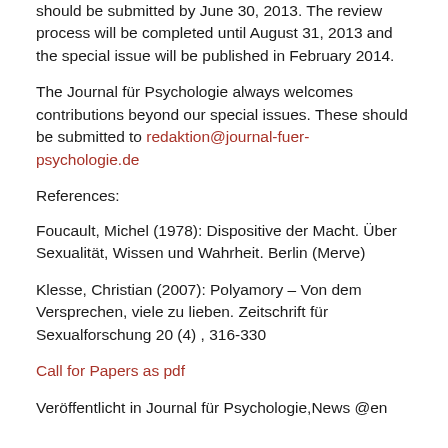should be submitted by June 30, 2013. The review process will be completed until August 31, 2013 and the special issue will be published in February 2014.
The Journal für Psychologie always welcomes contributions beyond our special issues. These should be submitted to redaktion@journal-fuer-psychologie.de
References:
Foucault, Michel (1978): Dispositive der Macht. Über Sexualität, Wissen und Wahrheit. Berlin (Merve)
Klesse, Christian (2007): Polyamory – Von dem Versprechen, viele zu lieben. Zeitschrift für Sexualforschung 20 (4) , 316-330
Call for Papers as pdf
Veröffentlicht in Journal für Psychologie,News @en